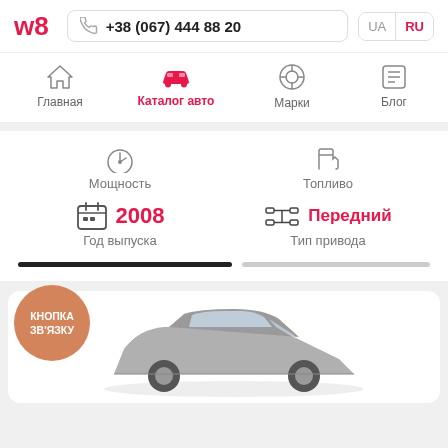w8 | +38 (067) 444 88 20 | UA | RU
Главная | Каталог авто | Марки | Блог
Мощность
Топливо
2008
Год выпуска
Передний
Тип привода
КНОПКА ЗВ'ЯЗКУ
[Figure (photo): Car sedan image at bottom of page]